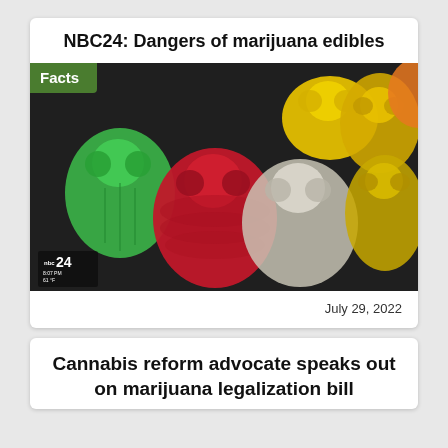NBC24: Dangers of marijuana edibles
[Figure (photo): Close-up photo of colorful gummy bear candies (green, red, yellow, clear/white) on a dark background, with NBC24 watermark in bottom left corner and a green 'Facts' badge overlay in top left.]
July 29, 2022
Cannabis reform advocate speaks out on marijuana legalization bill